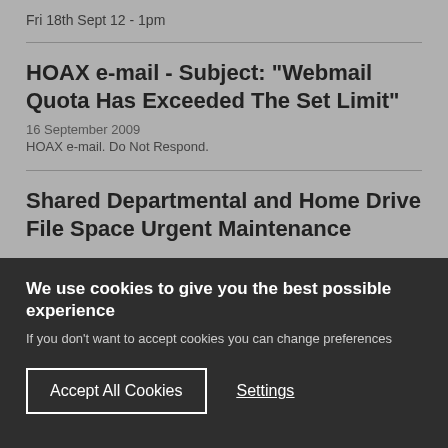Fri 18th Sept 12 - 1pm
HOAX e-mail - Subject: "Webmail Quota Has Exceeded The Set Limit"
16 September 2009
HOAX e-mail. Do Not Respond.
Shared Departmental and Home Drive File Space Urgent Maintenance
We use cookies to give you the best possible experience
If you don't want to accept cookies you can change preferences
Accept All Cookies
Settings